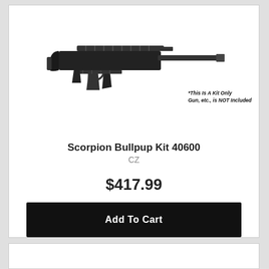[Figure (photo): A CZ Scorpion Bullpup Kit firearm shown in profile view facing right, black color. A note overlaid on the image reads: *This Is A Kit Only Gun, etc., is NOT Included]
Scorpion Bullpup Kit 40600
CZ
$417.99
Add To Cart